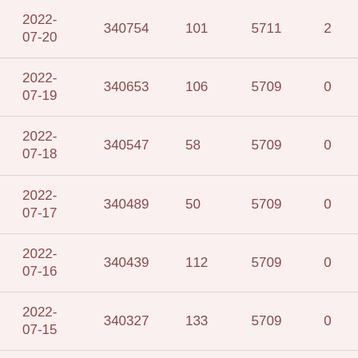| 2022-07-20 | 340754 | 101 | 5711 | 2 |
| 2022-07-19 | 340653 | 106 | 5709 | 0 |
| 2022-07-18 | 340547 | 58 | 5709 | 0 |
| 2022-07-17 | 340489 | 50 | 5709 | 0 |
| 2022-07-16 | 340439 | 112 | 5709 | 0 |
| 2022-07-15 | 340327 | 133 | 5709 | 0 |
| 2022-07-14 | 340194 | 153 | 5709 | 0 |